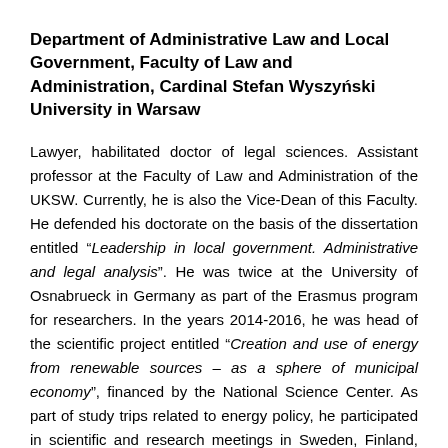Department of Administrative Law and Local Government, Faculty of Law and Administration, Cardinal Stefan Wyszyński University in Warsaw
Lawyer, habilitated doctor of legal sciences. Assistant professor at the Faculty of Law and Administration of the UKSW. Currently, he is also the Vice-Dean of this Faculty. He defended his doctorate on the basis of the dissertation entitled "Leadership in local government. Administrative and legal analysis". He was twice at the University of Osnabrueck in Germany as part of the Erasmus program for researchers. In the years 2014-2016, he was head of the scientific project entitled "Creation and use of energy from renewable sources – as a sphere of municipal economy", financed by the National Science Center. As part of study trips related to energy policy, he participated in scientific and research meetings in Sweden, Finland, Norway and Latvia. Author of publications related to